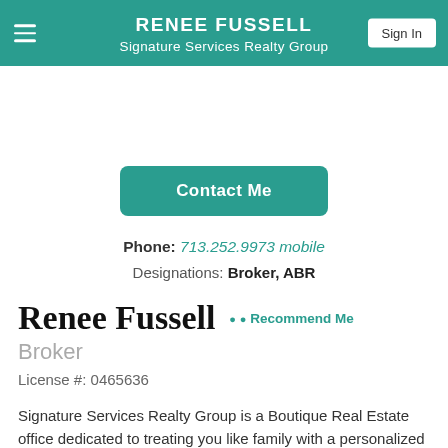RENEE FUSSELL
Signature Services Realty Group
Contact Me
Phone: 713.252.9973 mobile
Designations: Broker, ABR
Renee Fussell
Recommend Me
Broker
License #: 0465636
Signature Services Realty Group is a Boutique Real Estate office dedicated to treating you like family with a personalized business approach to Buying